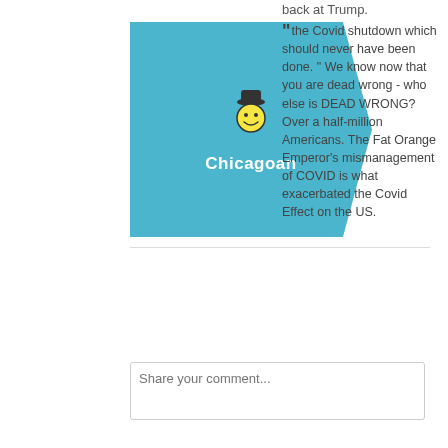back at Trump.
[Figure (illustration): Avatar card with teal/blue background and arrow shape pointing right, containing a smiley-face mascot icon with a hat and the label 'Chicagoan' in white bold text]
"the Covid shutdown which should never have been done. " We know now that you are dead wrong - who else is DEAD WRONG? Over a half-million Americans. The Fat Orange Emperor's mismanagement of COVID is what exacerbated the Covid Effect on the US.
Share your comment...